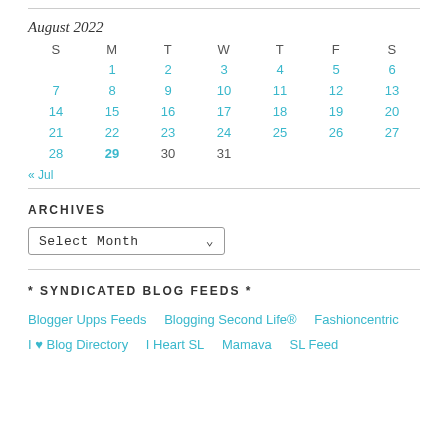| S | M | T | W | T | F | S |
| --- | --- | --- | --- | --- | --- | --- |
|  | 1 | 2 | 3 | 4 | 5 | 6 |
| 7 | 8 | 9 | 10 | 11 | 12 | 13 |
| 14 | 15 | 16 | 17 | 18 | 19 | 20 |
| 21 | 22 | 23 | 24 | 25 | 26 | 27 |
| 28 | 29 | 30 | 31 |  |  |  |
« Jul
ARCHIVES
Select Month
* SYNDICATED BLOG FEEDS *
Blogger Upps Feeds
Blogging Second Life®
Fashioncentric
I ♥ Blog Directory
I Heart SL
Mamava
SL Feed